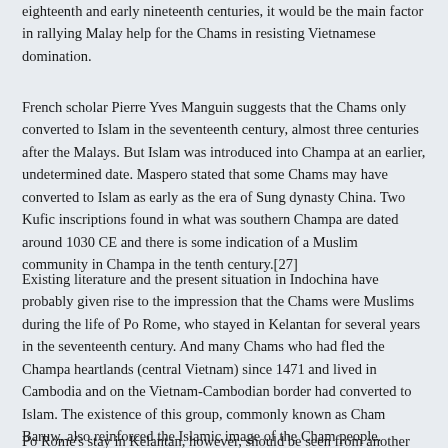eighteenth and early nineteenth centuries, it would be the main factor in rallying Malay help for the Chams in resisting Vietnamese domination.
French scholar Pierre Yves Manguin suggests that the Chams only converted to Islam in the seventeenth century, almost three centuries after the Malays. But Islam was introduced into Champa at an earlier, undetermined date. Maspero stated that some Chams may have converted to Islam as early as the era of Sung dynasty China. Two Kufic inscriptions found in what was southern Champa are dated around 1030 CE and there is some indication of a Muslim community in Champa in the tenth century.[27]
Existing literature and the present situation in Indochina have probably given rise to the impression that the Chams were Muslims during the life of Po Rome, who stayed in Kelantan for several years in the seventeenth century. And many Chams who had fled the Champa heartlands (central Vietnam) since 1471 and lived in Cambodia and on the Vietnam-Cambodian border had converted to Islam. The existence of this group, commonly known as Cham Baruw, also reinforced the Islamic image of the Cham people.
Po Rome's stay in Kelantan, however, should be seen from another angle...